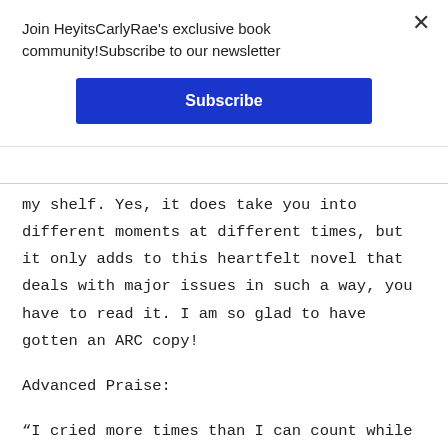Join HeyitsCarlyRae's exclusive book community!Subscribe to our newsletter
Subscribe
my shelf. Yes, it does take you into different moments at different times, but it only adds to this heartfelt novel that deals with major issues in such a way, you have to read it. I am so glad to have gotten an ARC copy!
Advanced Praise:
“I cried more times than I can count while reading this book, but I also laughed and